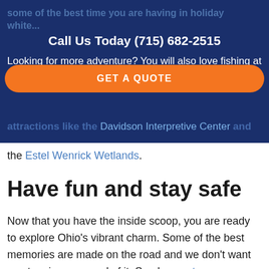Call Us Today (715) 682-2515
Looking for more adventure? You will also love fishing at the Mad River or exploring popular tourist attractions like the Davidson Interpretive Center and the Estel Wenrick Wetlands.
[Figure (other): Orange pill-shaped GET A QUOTE button overlay]
Have fun and stay safe
Now that you have the inside scoop, you are ready to explore Ohio's vibrant charm. Some of the best memories are made on the road and we don't want you to miss a second of it. See how auto